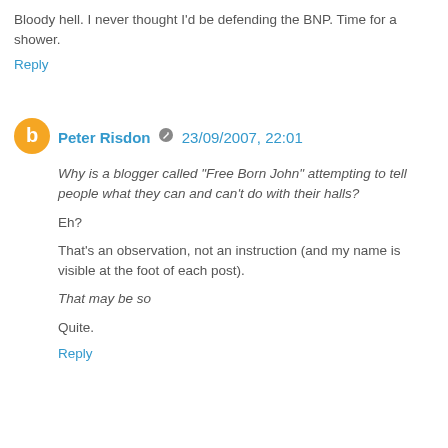Bloody hell. I never thought I'd be defending the BNP. Time for a shower.
Reply
Peter Risdon  23/09/2007, 22:01
Why is a blogger called "Free Born John" attempting to tell people what they can and can't do with their halls?
Eh?
That's an observation, not an instruction (and my name is visible at the foot of each post).
That may be so
Quite.
Reply